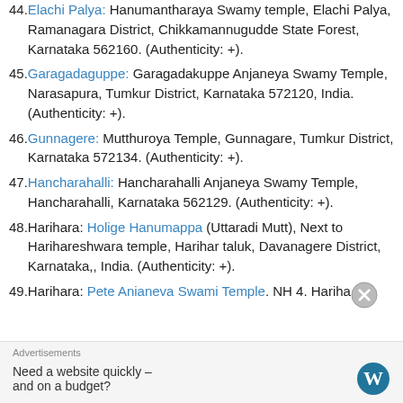44. Elachi Palya: Hanumantharaya Swamy temple, Elachi Palya, Ramanagara District, Chikkamannugudde State Forest, Karnataka 562160. (Authenticity: +).
45. Garagadaguppe: Garagadakuppe Anjaneya Swamy Temple, Narasapura, Tumkur District, Karnataka 572120, India. (Authenticity: +).
46. Gunnagere: Mutthuroya Temple, Gunnagare, Tumkur District, Karnataka 572134. (Authenticity: +).
47. Hancharahalli: Hancharahalli Anjaneya Swamy Temple, Hancharahalli, Karnataka 562129. (Authenticity: +).
48. Harihara: Holige Hanumappa (Uttaradi Mutt), Next to Harihareshwara temple, Harihar taluk, Davanagere District, Karnataka,, India. (Authenticity: +).
49. Harihara: Pete Anianeva Swami Temple. NH 4. Hariha…
Advertisements
Need a website quickly – and on a budget?